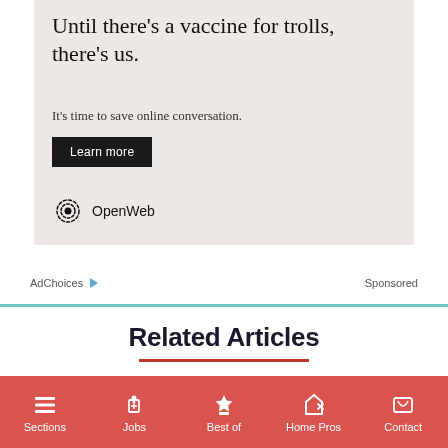[Figure (screenshot): Advertisement for OpenWeb showing text 'Until there’s a vaccine for trolls, there’s us.' and a Learn more button on a beige background with OpenWeb logo]
AdChoices ▷  Sponsored
Related Articles
[Figure (photo): Thumbnail image of a restaurant or food setting with green plants]
Sections  Jobs  Best of  Home Pros  Contact